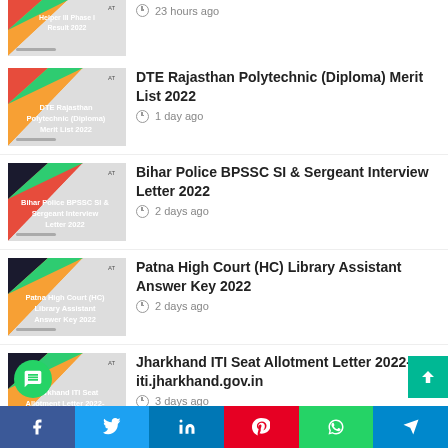[Figure (illustration): Thumbnail for Helper III Phase I Result 2022 – cropped at top]
23 hours ago
[Figure (illustration): Thumbnail for DTE Rajasthan Polytechnic (Diploma) Merit List 2022]
DTE Rajasthan Polytechnic (Diploma) Merit List 2022
1 day ago
[Figure (illustration): Thumbnail for Bihar Police BPSSC SI & Sergeant Interview Letter 2022]
Bihar Police BPSSC SI & Sergeant Interview Letter 2022
2 days ago
[Figure (illustration): Thumbnail for Patna High Court (HC) Library Assistant Answer Key 2022]
Patna High Court (HC) Library Assistant Answer Key 2022
2 days ago
[Figure (illustration): Thumbnail for Jharkhand ITI Seat Allotment Letter 2022-iti.jharkhand.gov.in]
Jharkhand ITI Seat Allotment Letter 2022-iti.jharkhand.gov.in
3 days ago